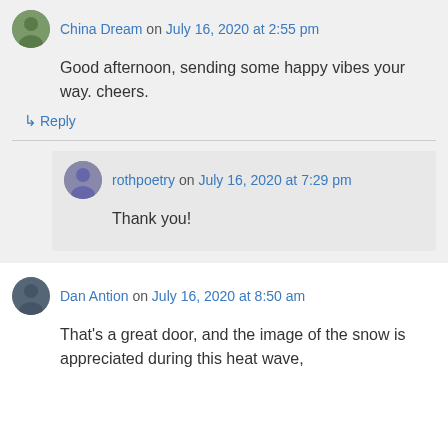China Dream on July 16, 2020 at 2:55 pm
Good afternoon, sending some happy vibes your way. cheers.
↳ Reply
rothpoetry on July 16, 2020 at 7:29 pm
Thank you!
Dan Antion on July 16, 2020 at 8:50 am
That's a great door, and the image of the snow is appreciated during this heat wave,